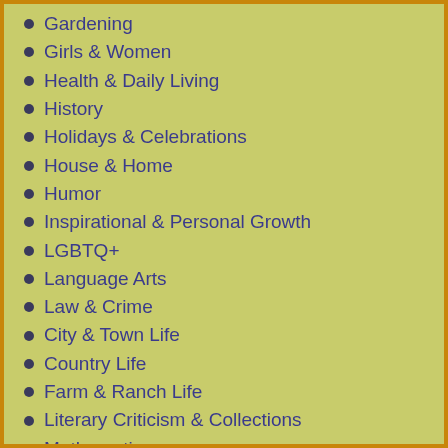Gardening
Girls & Women
Health & Daily Living
History
Holidays & Celebrations
House & Home
Humor
Inspirational & Personal Growth
LGBTQ+
Language Arts
Law & Crime
City & Town Life
Country Life
Farm & Ranch Life
Literary Criticism & Collections
Mathematics
Media Studies
Media Tie-In
Music